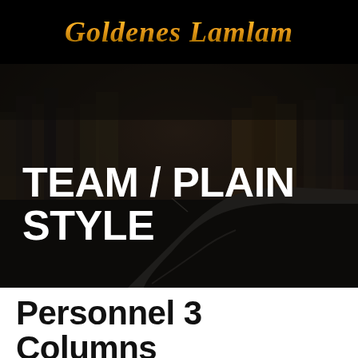Goldenes Lamlam
[Figure (photo): Dark atmospheric photo of a winding road at dusk with tall pine/fir trees in the background under an overcast sky]
TEAM / PLAIN STYLE
Personnel 3 Columns